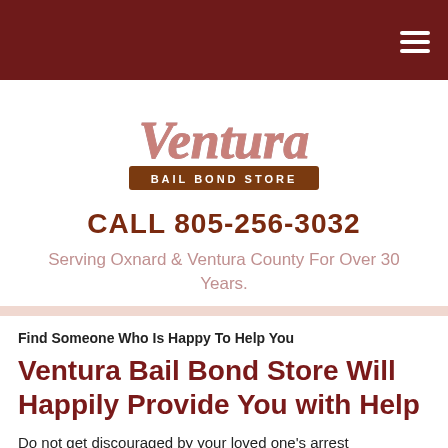Ventura Bail Bond Store — navigation header with hamburger menu
[Figure (logo): Ventura Bail Bond Store logo with cursive 'Ventura' script in rose/copper tones above a brown banner reading 'BAIL BOND STORE']
CALL 805-256-3032
Serving Oxnard & Ventura County For Over 30 Years.
Find Someone Who Is Happy To Help You
Ventura Bail Bond Store Will Happily Provide You with Help
Do not get discouraged by your loved one's arrest